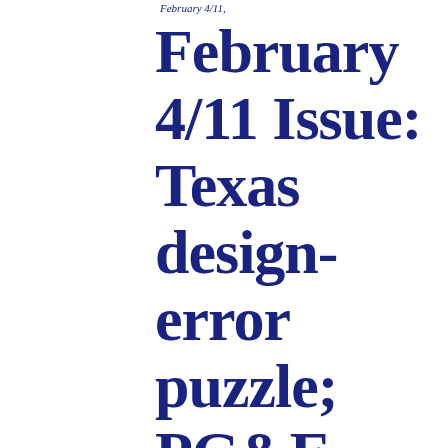February 4/11,
February 4/11 Issue: Texas design-error puzzle; PG&E Chapter 11